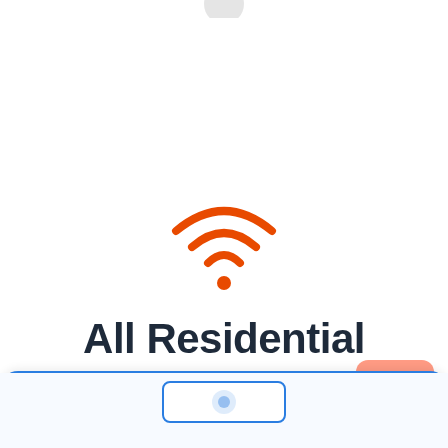[Figure (illustration): Orange WiFi signal icon with three arcs and a dot at the bottom center of the arcs]
All Residential Internet Providers in Shade
[Figure (illustration): Bottom card section with a blue top border and a blue-outlined logo placeholder, and a partially visible orange button in the lower right]